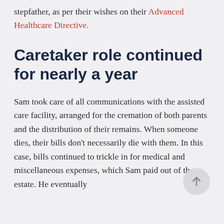stepfather, as per their wishes on their Advanced Healthcare Directive.
Caretaker role continued for nearly a year
Sam took care of all communications with the assisted care facility, arranged for the cremation of both parents and the distribution of their remains. When someone dies, their bills don't necessarily die with them. In this case, bills continued to trickle in for medical and miscellaneous expenses, which Sam paid out of the estate. He eventually